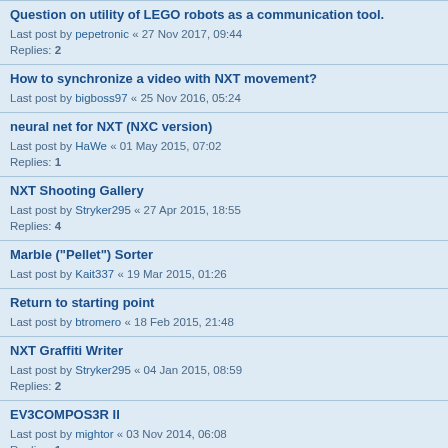Question on utility of LEGO robots as a communication tool.
Last post by pepetronic « 27 Nov 2017, 09:44
Replies: 2
How to synchronize a video with NXT movement?
Last post by bigboss97 « 25 Nov 2016, 05:24
neural net for NXT (NXC version)
Last post by HaWe « 01 May 2015, 07:02
Replies: 1
NXT Shooting Gallery
Last post by Stryker295 « 27 Apr 2015, 18:55
Replies: 4
Marble ("Pellet") Sorter
Last post by Kait337 « 19 Mar 2015, 01:26
Return to starting point
Last post by btromero « 18 Feb 2015, 21:48
NXT Graffiti Writer
Last post by Stryker295 « 04 Jan 2015, 08:59
Replies: 2
EV3COMPOS3R II
Last post by mightor « 03 Nov 2014, 06:08
Replies: 1
Rescue Mindstorm bots inside robot battle contest
Last post by Rayjunx « 01 Oct 2014, 18:37
line follower with mutex and three sensors, obstacle avoid
Last post by ninjaman1138 « 31 Mar 2014, 16:14
Replies: 2